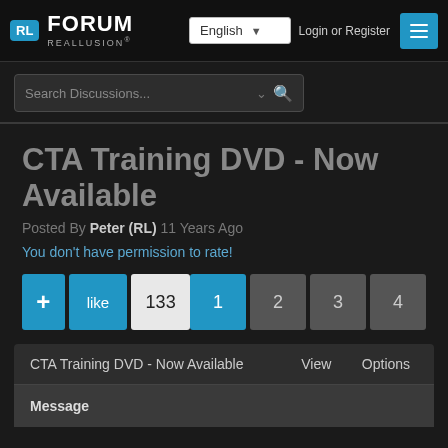RL FORUM REALLUSION | English | Login or Register
Search Discussions...
CTA Training DVD - Now Available
Posted By Peter (RL) 11 Years Ago
You don't have permission to rate!
+ like 133  | Page 1 2 3 4
| CTA Training DVD - Now Available | View | Options |
| --- | --- | --- |
Message